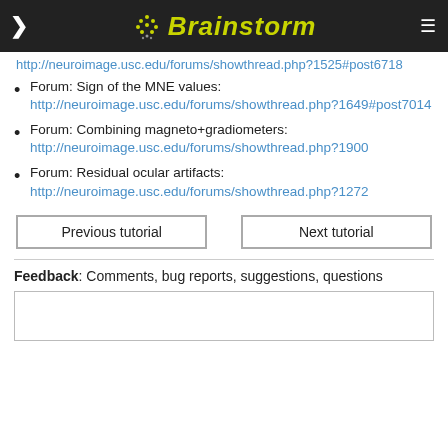Brainstorm
Forum: Sign of the MNE values: http://neuroimage.usc.edu/forums/showthread.php?1649#post7014
Forum: Combining magneto+gradiometers: http://neuroimage.usc.edu/forums/showthread.php?1900
Forum: Residual ocular artifacts: http://neuroimage.usc.edu/forums/showthread.php?1272
Previous tutorial | Next tutorial
Feedback: Comments, bug reports, suggestions, questions